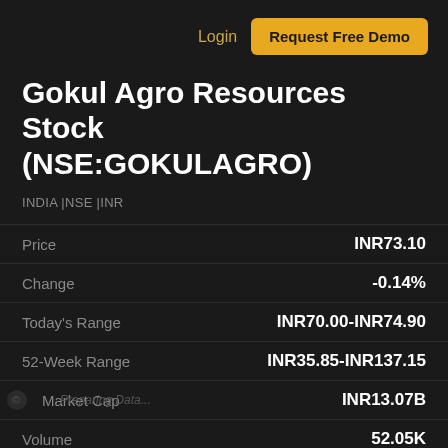Login  Request Free Demo
Gokul Agro Resources Stock (NSE:GOKULAGRO)
INDIA |NSE |INR
|  |  |
| --- | --- |
| Price | INR73.10 |
| Change | -0.14% |
| Today's Range | INR70.00-INR74.90 |
| 52-Week Range | INR35.85-INR137.15 |
| Market Cap | INR13.07B |
| Volume | 52.05K |